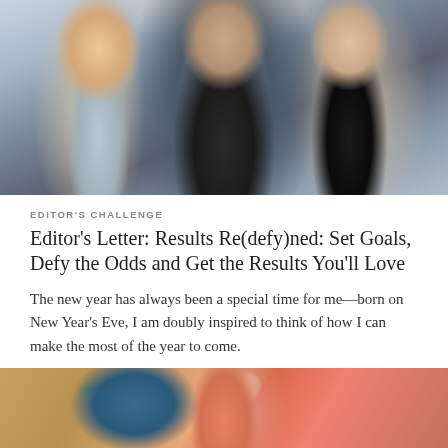[Figure (photo): Three young adults smiling and laughing together outdoors — a blonde woman on the left, a man in a light blue denim shirt in the center, and a woman on the right laughing]
EDITOR'S CHALLENGE
Editor's Letter: Results Re(defy)ned: Set Goals, Defy the Odds and Get the Results You'll Love
The new year has always been a special time for me—born on New Year's Eve, I am doubly inspired to think of how I can make the most of the year to come.
[Figure (photo): A woman in a pink top holding a teal/turquoise kettlebell, partial view cropped at bottom of page]